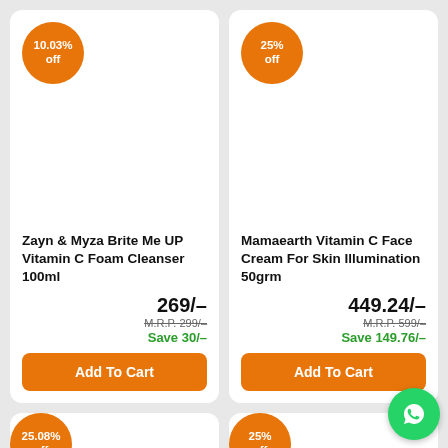[Figure (other): Product card: Zayn & Myza Brite Me UP Vitamin C Foam Cleanser 100ml with 10.03% off badge]
Zayn & Myza Brite Me UP Vitamin C Foam Cleanser 100ml
269/-
M.R.P. 299/-
Save 30/-
Add To Cart
[Figure (other): Product card: Mamaearth Vitamin C Face Cream For Skin Illumination 50grm with 25% off badge]
Mamaearth Vitamin C Face Cream For Skin Illumination 50grm
449.24/-
M.R.P. 599/-
Save 149.76/-
Add To Cart
[Figure (other): Partial product card with 25.08% off badge (bottom left, partially visible)]
[Figure (other): Partial product card with 25% off badge (bottom right, partially visible)]